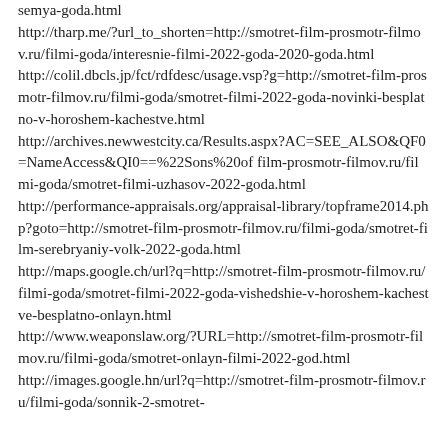semya-goda.html http://tharp.me/?url_to_shorten=http://smotret-film-prosmotr-filmov.ru/filmi-goda/interesnie-filmi-2022-goda-2020-goda.html http://colil.dbcls.jp/fct/rdfdesc/usage.vsp?g=http://smotret-film-prosmotr-filmov.ru/filmi-goda/smotret-filmi-2022-goda-novinki-besplatno-v-horoshem-kachestve.html http://archives.newwestcity.ca/Results.aspx?AC=SEE_ALSO&QF0=NameAccess&QI0==%22Sons%20of film-prosmotr-filmov.ru/filmi-goda/smotret-filmi-uzhasov-2022-goda.html http://performance-appraisals.org/appraisal-library/topframe2014.php?goto=http://smotret-film-prosmotr-filmov.ru/filmi-goda/smotret-film-serebryaniy-volk-2022-goda.html http://maps.google.ch/url?q=http://smotret-film-prosmotr-filmov.ru/filmi-goda/smotret-filmi-2022-goda-vishedshie-v-horoshem-kachestve-besplatno-onlayn.html http://www.weaponslaw.org/?URL=http://smotret-film-prosmotr-filmov.ru/filmi-goda/smotret-onlayn-filmi-2022-god.html http://images.google.hn/url?q=http://smotret-film-prosmotr-filmov.ru/filmi-goda/sonnik-2-smotret-